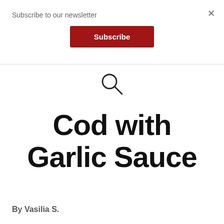Subscribe to our newsletter
×
Subscribe
[Figure (other): Search magnifying glass icon]
Cod with Garlic Sauce
By Vasilia S.